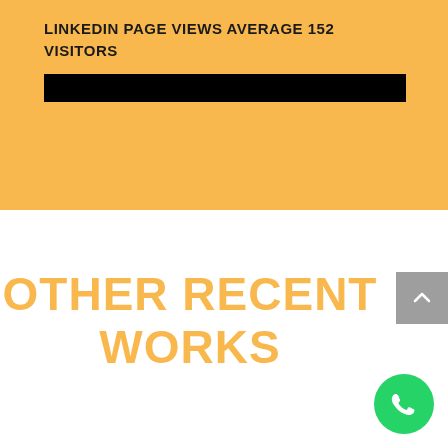LINKEDIN PAGE VIEWS AVERAGE 152 VISITORS
[Figure (other): Black redacted/blacked-out bar covering content]
OTHER RECENT WORKS
[Figure (other): Gray scroll-up button with upward chevron arrow]
[Figure (other): Green WhatsApp floating action button with phone icon]